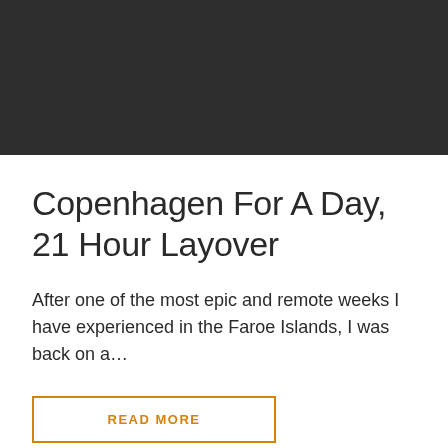[Figure (photo): Dark/black rectangular header image area at the top of the page]
Copenhagen For A Day, 21 Hour Layover
After one of the most epic and remote weeks I have experienced in the Faroe Islands, I was back on a…
READ MORE